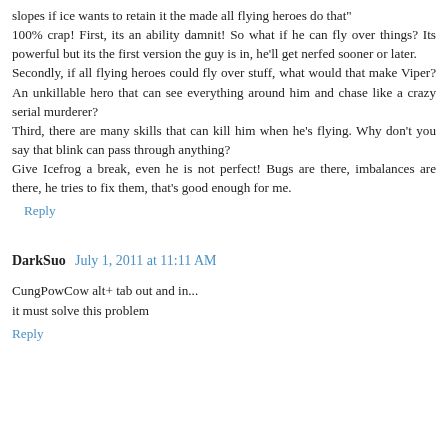slopes if ice wants to retain it the made all flying heroes do that"
100% crap! First, its an ability damnit! So what if he can fly over things? Its powerful but its the first version the guy is in, he'll get nerfed sooner or later.
Secondly, if all flying heroes could fly over stuff, what would that make Viper? An unkillable hero that can see everything around him and chase like a crazy serial murderer?
Third, there are many skills that can kill him when he's flying. Why don't you say that blink can pass through anything?
Give Icefrog a break, even he is not perfect! Bugs are there, imbalances are there, he tries to fix them, that's good enough for me.
Reply
DarkSuo  July 1, 2011 at 11:11 AM
CungPowCow alt+ tab out and in...
it must solve this problem
Reply